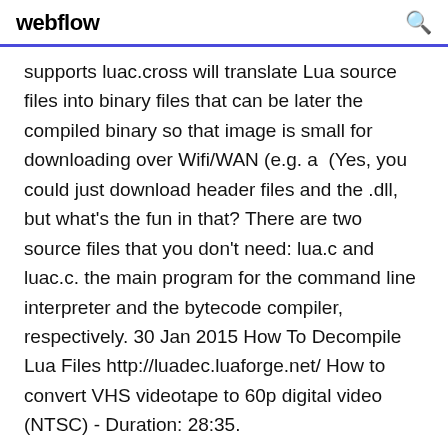webflow
supports luac.cross will translate Lua source files into binary files that can be later the compiled binary so that image is small for downloading over Wifi/WAN (e.g. a  (Yes, you could just download header files and the .dll, but what's the fun in that? There are two source files that you don't need: lua.c and luac.c. the main program for the command line interpreter and the bytecode compiler, respectively. 30 Jan 2015 How To Decompile Lua Files http://luadec.luaforge.net/ How to convert VHS videotape to 60p digital video (NTSC) - Duration: 28:35.